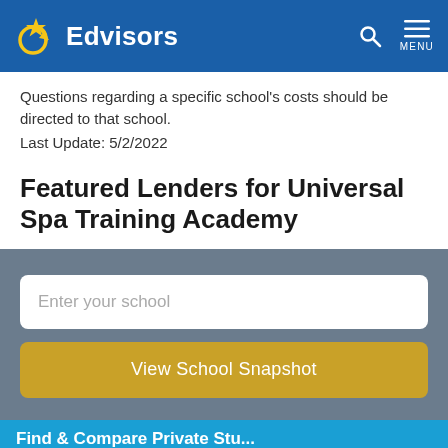Edvisors
Questions regarding a specific school's costs should be directed to that school.
Last Update: 5/2/2022
Featured Lenders for Universal Spa Training Academy
Enter your school
View School Snapshot
Find & Compare Private Student...